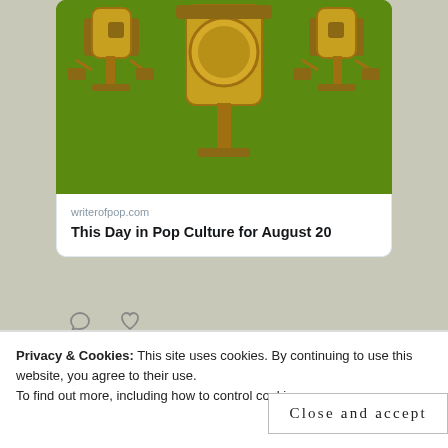[Figure (screenshot): Green background with golden microphone decorations — top portion of a Twitter embedded link card for writerforofpop.com]
writerofpop.com
This Day in Pop Culture for August 20
[Figure (illustration): Comment bubble icon and heart/like icon in the tweet action row]
Jeffrey Totey @WriterofPop · Aug 19
Advertisements
Privacy & Cookies: This site uses cookies. By continuing to use this website, you agree to their use.
To find out more, including how to control cookies
Close and accept